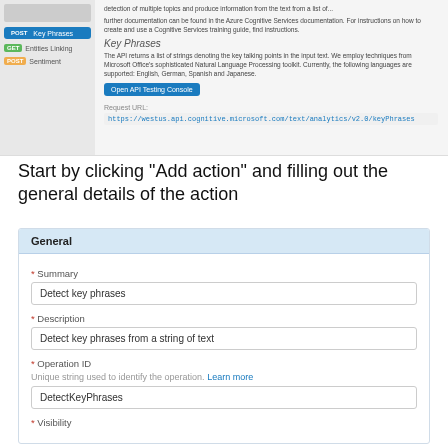[Figure (screenshot): Screenshot of an API documentation UI showing a left sidebar with navigation items (Key Phrases selected in blue, Entities in green, Sentiment in orange) and right panel showing Key Phrases API documentation with description, Open API Testing Console button, Request URL label, and URL value https://westus.api.cognitive.microsoft.com/text/analytics/v2.0/keyPhrases]
Start by clicking “Add action” and filling out the general details of the action
| Field | Value |
| --- | --- |
| General |  |
| * Summary | Detect key phrases |
| * Description | Detect key phrases from a string of text |
| * Operation ID | DetectKeyPhrases |
| * Visibility |  |